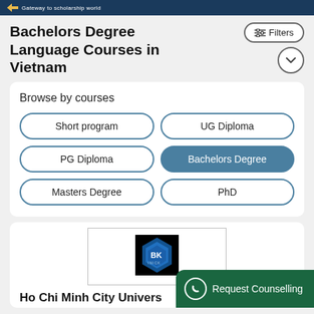Gateway to scholarship world
Bachelors Degree Language Courses in Vietnam
Filters
Browse by courses
Short program
UG Diploma
PG Diploma
Bachelors Degree
Masters Degree
PhD
[Figure (logo): BK INICK university logo — blue hexagonal shape on black background]
Ho Chi Minh City Univers
Request Counselling